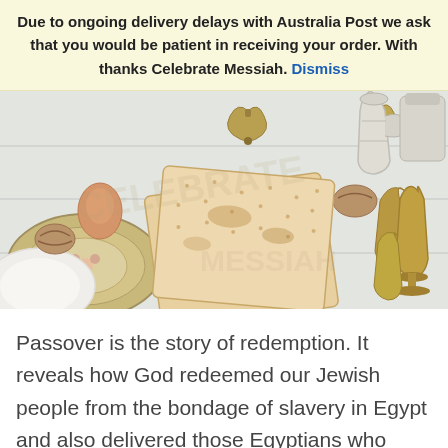Due to ongoing delivery delays with Australia Post we ask that you would be patient in receiving your order. With thanks Celebrate Messiah. Dismiss
[Figure (photo): Overhead photo of a Passover Seder table with matzah (unleavened bread), a decorative plate, walnuts, an egg, brass bells, a silver pitcher, brass goblets, and other Seder items on a white wooden surface.]
Passover is the story of redemption. It reveals how God redeemed our Jewish people from the bondage of slavery in Egypt and also delivered those Egyptians who chose to identify with the God of